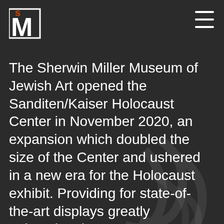[Figure (logo): Sherwin Miller Museum of Jewish Art logo — stylized 'SM' with large 'M' in white/orange on dark background]
The Sherwin Miller Museum of Jewish Art opened the Sanditen/Kaiser Holocaust Center in November 2020, an expansion which doubled the size of the Center and ushered in a new era for the Holocaust exhibit. Providing for state-of-the-art displays greatly enhancing the Museum's Holocaust education capacity, it attracts visitors who wish to learn why and how the Holocaust occurred, and how to ensure it never happens again. The Center showcases over 250 artifacts from soldiers and survivors never before seen by the public. The horrifying events of the period are chronicled through the testimonies of five Holocaust survivors